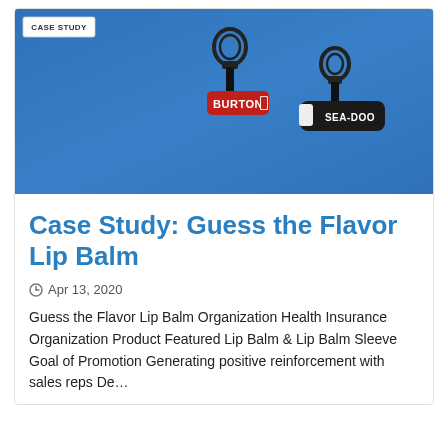[Figure (photo): Photo of two branded lip balm products with clip attachments against a blue background. One has a red Burton brand label, the other has a black Sea-Doo branded sleeve. A 'CASE STUDY' badge appears in the upper left corner of the image.]
Case Study: Guess the Flavor Lip Balm
Apr 13, 2020
Guess the Flavor Lip Balm Organization Health Insurance Organization Product Featured Lip Balm & Lip Balm Sleeve Goal of Promotion Generating positive reinforcement with sales reps De…